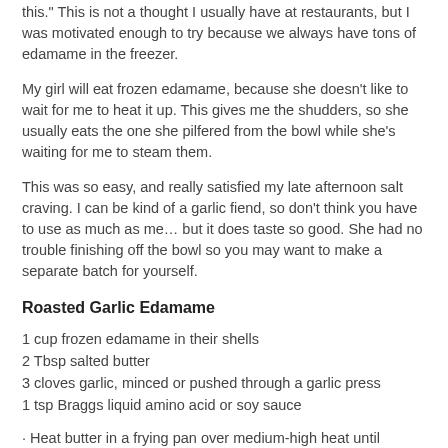this." This is not a thought I usually have at restaurants, but I was motivated enough to try because we always have tons of edamame in the freezer.
My girl will eat frozen edamame, because she doesn't like to wait for me to heat it up. This gives me the shudders, so she usually eats the one she pilfered from the bowl while she's waiting for me to steam them.
This was so easy, and really satisfied my late afternoon salt craving. I can be kind of a garlic fiend, so don't think you have to use as much as me… but it does taste so good. She had no trouble finishing off the bowl so you may want to make a separate batch for yourself.
Roasted Garlic Edamame
1 cup frozen edamame in their shells
2 Tbsp salted butter
3 cloves garlic, minced or pushed through a garlic press
1 tsp Braggs liquid amino acid or soy sauce
· Heat butter in a frying pan over medium-high heat until